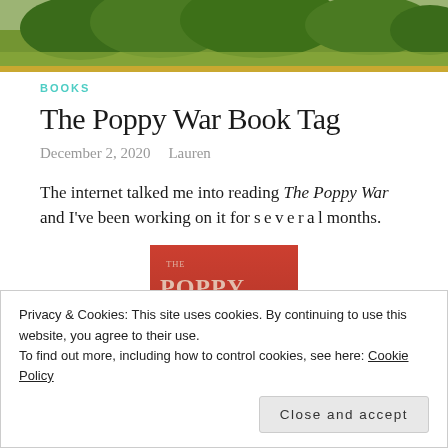[Figure (photo): Hero banner photo showing green trees and outdoor scenery with golden-hour lighting]
BOOKS
The Poppy War Book Tag
December 2, 2020   Lauren
The internet talked me into reading The Poppy War and I've been working on it for s e v e r a l months.
[Figure (photo): Book cover of The Poppy War with orange/red background and large stylized title text]
Privacy & Cookies: This site uses cookies. By continuing to use this website, you agree to their use.
To find out more, including how to control cookies, see here: Cookie Policy
Close and accept